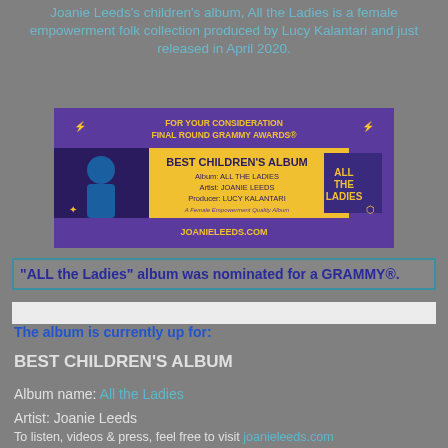Joanie Leeds's children's album, All the Ladies is a female empowerment folk collection produced by Lucy Kalantari and just released in April 2020.
[Figure (photo): Grammy Awards promotional banner for Best Children's Album - All the Ladies by Joanie Leeds, produced by Lucy Kalantari. Purple and yellow banner with woman in blue outfit, album art, and text FOR YOUR CONSIDERATION FINAL ROUND GRAMMY AWARDS BEST CHILDREN'S ALBUM joanieleeds.com]
"ALL the Ladies" album was nominated for a GRAMMY®.
The album is currently up for:
BEST CHILDREN'S ALBUM
Album name: All the Ladies
Artist: Joanie Leeds
To listen, videos & press, feel free to visit joanieleeds.com